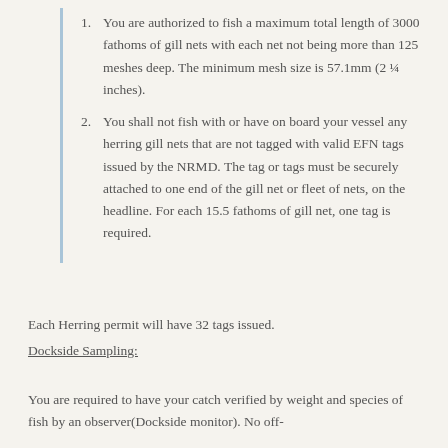You are authorized to fish a maximum total length of 3000 fathoms of gill nets with each net not being more than 125 meshes deep. The minimum mesh size is 57.1mm (2 ¼ inches).
You shall not fish with or have on board your vessel any herring gill nets that are not tagged with valid EFN tags issued by the NRMD. The tag or tags must be securely attached to one end of the gill net or fleet of nets, on the headline. For each 15.5 fathoms of gill net, one tag is required.
Each Herring permit will have 32 tags issued.
Dockside Sampling:
You are required to have your catch verified by weight and species of fish by an observer(Dockside monitor). No off-